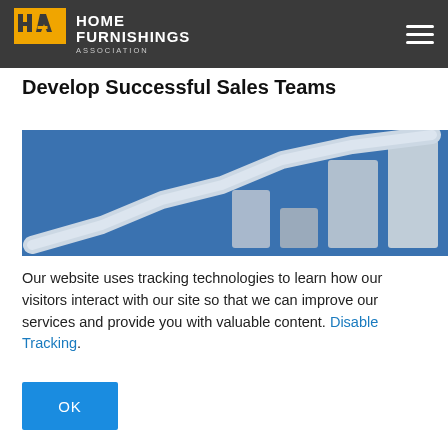HOME FURNISHINGS ASSOCIATION
Develop Successful Sales Teams
[Figure (illustration): Blue background illustration showing an upward-trending line chart with bar chart elements in light grey/silver on a blue background, representing sales growth]
Our website uses tracking technologies to learn how our visitors interact with our site so that we can improve our services and provide you with valuable content. Disable Tracking.
OK